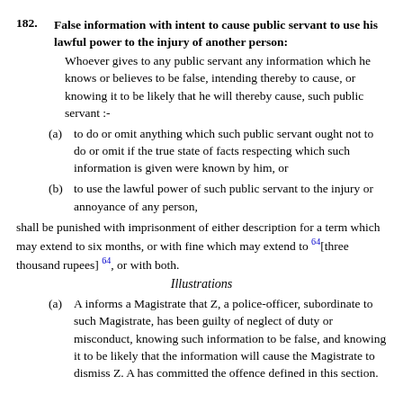182. False information with intent to cause public servant to use his lawful power to the injury of another person:
Whoever gives to any public servant any information which he knows or believes to be false, intending thereby to cause, or knowing it to be likely that he will thereby cause, such public servant :-
(a) to do or omit anything which such public servant ought not to do or omit if the true state of facts respecting which such information is given were known by him, or
(b) to use the lawful power of such public servant to the injury or annoyance of any person,
shall be punished with imprisonment of either description for a term which may extend to six months, or with fine which may extend to 64[three thousand rupees] 64, or with both.
Illustrations
(a) A informs a Magistrate that Z, a police-officer, subordinate to such Magistrate, has been guilty of neglect of duty or misconduct, knowing such information to be false, and knowing it to be likely that the information will cause the Magistrate to dismiss Z. A has committed the offence defined in this section.